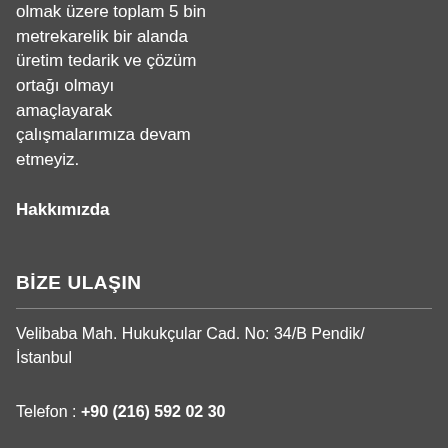olmak üzere toplam 5 bin metrekarelik bir alanda üretim tedarik ve çözüm ortağı olmayı amaçlayarak çalışmalarımıza devam etmeyiz.
Hakkımızda
BİZE ULAŞIN
Velibaba Mah. Hukukçular Cad. No: 34/B Pendik/ İstanbul
Telefon : +90 (216) 592 02 30